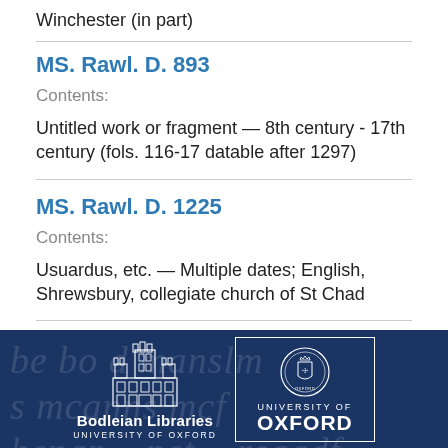Winchester (in part)
MS. Rawl. D. 893
Contents:
Untitled work or fragment — 8th century - 17th century (fols. 116-17 datable after 1297)
MS. Rawl. D. 1225
Contents:
Usuardus, etc. — Multiple dates; English, Shrewsbury, collegiate church of St Chad
[Figure (logo): Bodleian Libraries University of Oxford logo alongside University of Oxford crest logo, displayed on a dark navy background with faint medieval manuscript text watermark.]